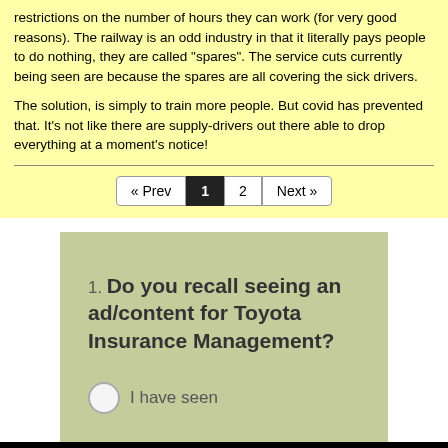restrictions on the number of hours they can work (for very good reasons). The railway is an odd industry in that it literally pays people to do nothing, they are called "spares". The service cuts currently being seen are because the spares are all covering the sick drivers.
The solution, is simply to train more people. But covid has prevented that. It's not like there are supply-drivers out there able to drop everything at a moment's notice!
« Prev  1  2  Next »
1. Do you recall seeing an ad/content for Toyota Insurance Management?
I have seen